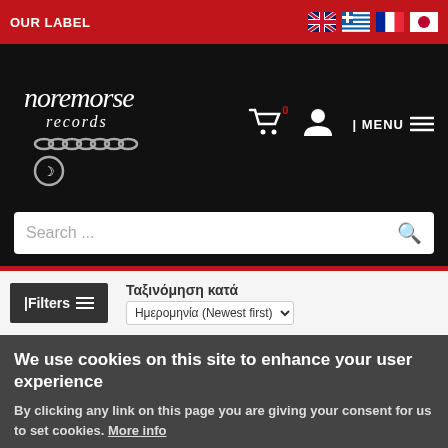OUR LABEL
[Figure (logo): No Remorse Records logo with chain graphic in white on black background]
[Figure (screenshot): Search bar with placeholder text 'Search ...' and magnifying glass icon]
|Filters ≡
Ταξινόμηση κατά
Ημερομηνία (Newest first)
We use cookies on this site to enhance your user experience
By clicking any link on this page you are giving your consent for us to set cookies. More info
OK, I agree